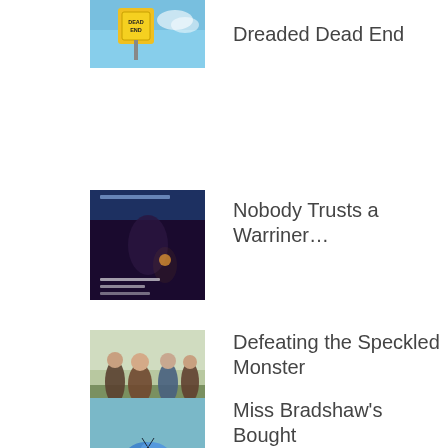[Figure (illustration): Book cover for Dreaded Dead End showing a Dead End road sign against a blue sky background]
Dreaded Dead End
[Figure (illustration): Book cover for Nobody Trusts a Warriner showing a dark romance novel cover with a man and candle]
Nobody Trusts a Warriner…
[Figure (illustration): Book cover for Defeating the Speckled Monster showing a group of people in historical dress]
Defeating the Speckled Monster
[Figure (illustration): Book cover for Miss Bradshaw's Bought Betrothal showing a blue butterfly on a hand against a teal background]
Miss Bradshaw's Bought Betrothal